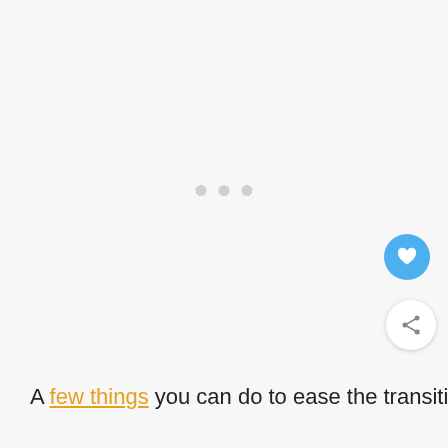[Figure (other): Loading indicator with three light gray dots centered on a light gray background]
A few things you can do to ease the transition